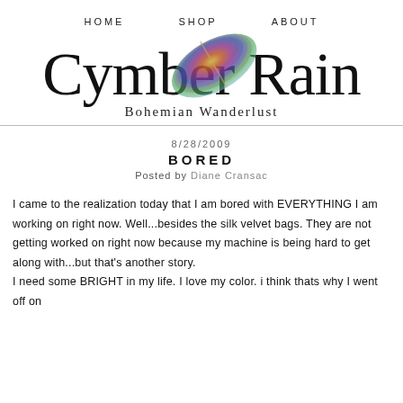HOME   SHOP   ABOUT
[Figure (logo): Cymber Rain Bohemian Wanderlust logo with colorful feather illustration and script text]
8/28/2009
BORED
Posted by Diane Cransac
I came to the realization today that I am bored with EVERYTHING I am working on right now. Well...besides the silk velvet bags. They are not getting worked on right now because my machine is being hard to get along with...but that's another story.
I need some BRIGHT in my life. I love my color. i think thats why I went off on